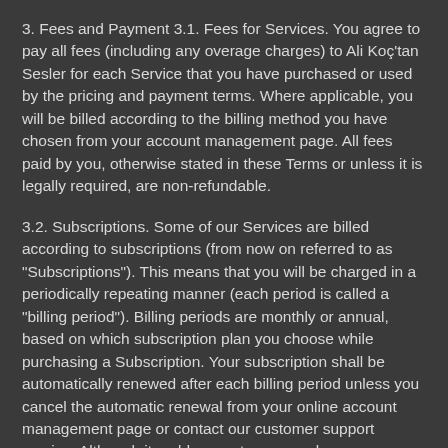3. Fees and Payment 3.1. Fees for Services. You agree to pay all fees (including any overage charges) to Ali Koç'tan Sesler for each Service that you have purchased or used by the pricing and payment terms. Where applicable, you will be billed according to the billing method you have chosen from your account management page. All fees paid by you, otherwise stated in these Terms or unless it is legally required, are non-refundable.
3.2. Subscriptions. Some of our Services are billed according to subscriptions (from now on referred to as "Subscriptions"). This means that you will be charged in a periodically repeating manner (each period is called a "billing period"). Billing periods are monthly or annual, based on which subscription plan you choose while purchasing a Subscription. Your subscription shall be automatically renewed after each billing period unless you cancel the automatic renewal from your online account management page or contact our customer support service. Although it saddens us to see you leave, you can cancel the automatic Subscription renewal any time you want; in such an event, your subscription will continue before cancellation until the